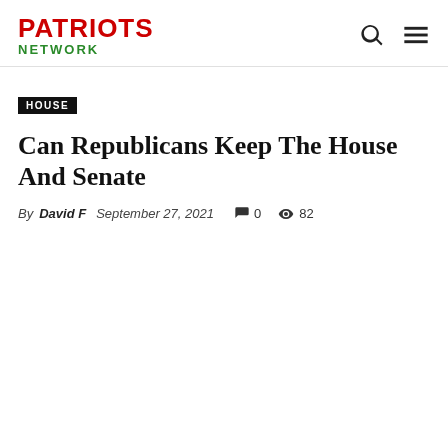PATRIOTS NETWORK
HOUSE
Can Republicans Keep The House And Senate
By David F   September 27, 2021   🗨 0   👁 82